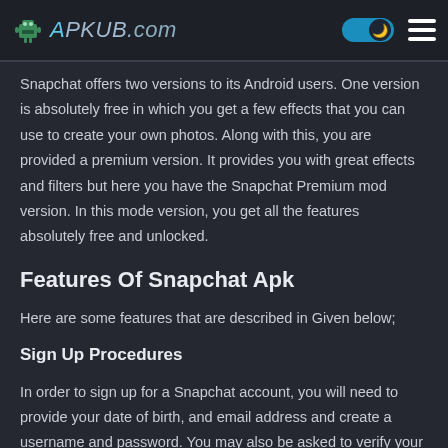APKUB.com
Snapchat offers two versions to its Android users. One version is absolutely free in which you get a few effects that you can use to create your own photos. Along with this, you are provided a premium version. It provides you with great effects and filters but here you have the Snapchat Premium mod version. In this mode version, you get all the features absolutely free and unlocked.
Features Of Snapchat Apk
Here are some features that are described in Given below;
Sign Up Procedures
In order to sign up for a Snapchat account, you will need to provide your date of birth, and email address and create a username and password. You may also be asked to verify your